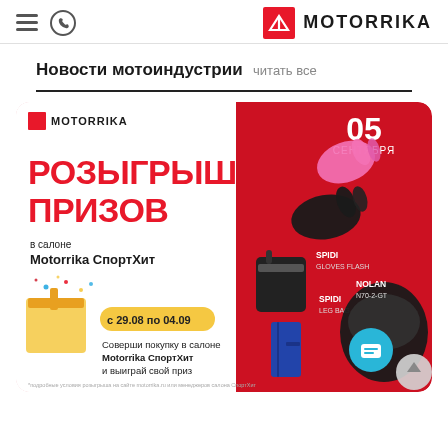MOTORRIKA — navigation header with hamburger menu, phone icon, and logo
Новости мотоиндустрии читать все
[Figure (illustration): Promotional banner for Motorrika СпортХит prize giveaway. Red background with motorcycle gear (SPIDI GLOVES FLASH, SPIDI LEG BAG, NOLAN N70-2-GT helmet, pants). Text: РОЗЫГРЫШ ПРИЗОВ в салоне Motorrika СпортХит, с 29.08 по 04.09, дата 05 СЕНТЯБРЯ. Text: Соверши покупку в салоне Motorrika СпортХит и выиграй свой приз. Small print: подробные условия розыгрыша на сайте motorrika.ru или менеджеров салона СпортХит.]